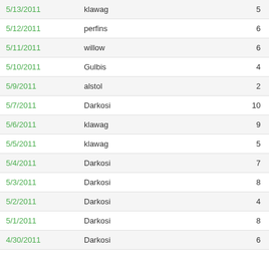| Date | Name | Count |
| --- | --- | --- |
| 5/13/2011 | klawag | 5 |
| 5/12/2011 | perfins | 6 |
| 5/11/2011 | willow | 6 |
| 5/10/2011 | Gulbis | 4 |
| 5/9/2011 | alstol | 2 |
| 5/7/2011 | Darkosi | 10 |
| 5/6/2011 | klawag | 9 |
| 5/5/2011 | klawag | 5 |
| 5/4/2011 | Darkosi | 7 |
| 5/3/2011 | Darkosi | 8 |
| 5/2/2011 | Darkosi | 4 |
| 5/1/2011 | Darkosi | 8 |
| 4/30/2011 | Darkosi | 6 |